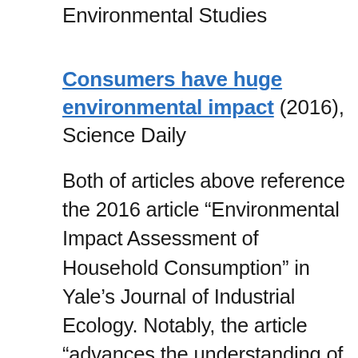Environmental Studies
Consumers have huge environmental impact (2016), Science Daily
Both of articles above reference the 2016 article “Environmental Impact Assessment of Household Consumption” in Yale’s Journal of Industrial Ecology. Notably, the article “advances the understanding of the impact of consumption by distinguishing between direct impacts (e.g., CO2 emitted when driving a car),